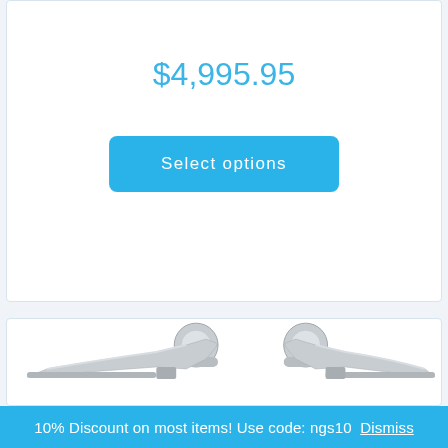$4,995.95
Select options
[Figure (photo): Two chrome/steel lever door handles shown from above against a white background]
10% Discount on most items! Use code: ngs10 Dismiss